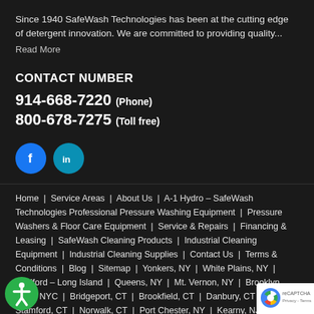Since 1940 SafeWash Technologies has been at the cutting edge of detergent innovation. We are committed to providing quality...
Read More
CONTACT NUMBER
914-668-7220 (Phone)
800-678-7275 (Toll free)
[Figure (illustration): Facebook and LinkedIn social media icon buttons (circles with f and in logos)]
Home | Service Areas | About Us | A-1 Hydro – SafeWash Technologies Professional Pressure Washing Equipment | Pressure Washers & Floor Care Equipment | Service & Repairs | Financing & Leasing | SafeWash Cleaning Products | Industrial Cleaning Equipment | Industrial Cleaning Supplies | Contact Us | Terms & Conditions | Blog | Sitemap | Yonkers, NY | White Plains, NY | Medford – Long Island | Queens, NY | Mt. Vernon, NY | Brooklyn, NY | NYC | Bridgeport, CT | Brookfield, CT | Danbury, CT | Stamford, CT | Norwalk, CT | Port Chester, NY | Kearny, NJ | Professional Pressure Washers In New Jersey | Wallkill, NY | e County, NY | Newburgh, NY | New Windsor, NY | Montg | Middletown, NY | Custom Pressure Washer Systems Design | Installation & Mounting | Undercarriage Salt Corrosion Cleaner | Pre-
[Figure (illustration): Accessibility icon (green circle with person symbol) and reCAPTCHA badge (Privacy - Terms)]